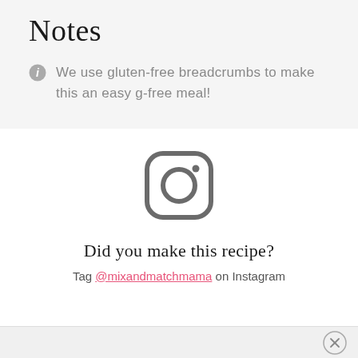Notes
We use gluten-free breadcrumbs to make this an easy g-free meal!
[Figure (logo): Instagram camera icon in gray outline style]
Did you make this recipe?
Tag @mixandmatchmama on Instagram
×